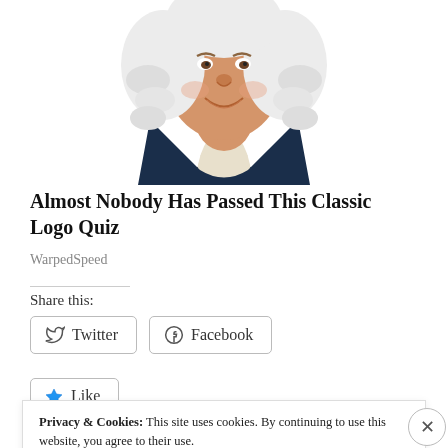[Figure (illustration): Illustration of a smiling man in colonial-era clothing with a white powdered wig, wearing a dark blue coat with white cravat (resembling the Quaker Oats mascot), cropped to show head and upper torso against white background.]
Almost Nobody Has Passed This Classic Logo Quiz
WarpedSpeed
Share this:
Twitter
Facebook
Like
Privacy & Cookies: This site uses cookies. By continuing to use this website, you agree to their use. To find out more, including how to control cookies, see here: Cookie Policy
Close and accept